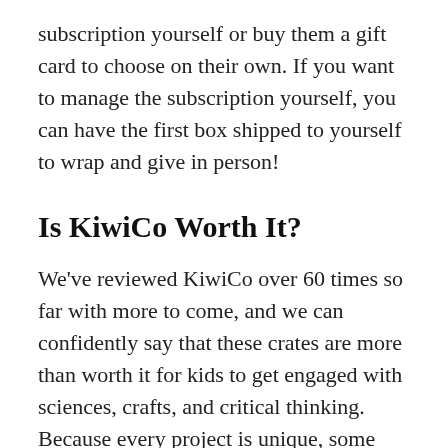subscription yourself or buy them a gift card to choose on their own. If you want to manage the subscription yourself, you can have the first box shipped to yourself to wrap and give in person!
Is KiwiCo Worth It?
We've reviewed KiwiCo over 60 times so far with more to come, and we can confidently say that these crates are more than worth it for kids to get engaged with sciences, crafts, and critical thinking. Because every project is unique, some crates might be more fun for your kids than others, but on the whole the engagement with the sciences is worth it.